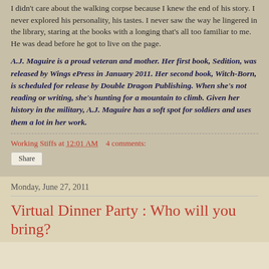I didn't care about the walking corpse because I knew the end of his story. I never explored his personality, his tastes. I never saw the way he lingered in the library, staring at the books with a longing that's all too familiar to me. He was dead before he got to live on the page.
A.J. Maguire is a proud veteran and mother. Her first book, Sedition, was released by Wings ePress in January 2011. Her second book, Witch-Born, is scheduled for release by Double Dragon Publishing. When she's not reading or writing, she's hunting for a mountain to climb. Given her history in the military, A.J. Maguire has a soft spot for soldiers and uses them a lot in her work.
Working Stiffs at 12:01 AM    4 comments:
Share
Monday, June 27, 2011
Virtual Dinner Party : Who will you bring?